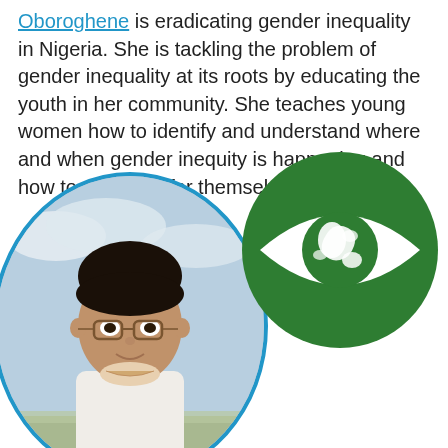Oboroghene is eradicating gender inequality in Nigeria. She is tackling the problem of gender inequality at its roots by educating the youth in her community. She teaches young women how to identify and understand where and when gender inequity is happening and how to advocate for themselves.
[Figure (photo): A young man with glasses and dark hair, photographed outdoors against a cloudy sky, displayed in a circular blue-bordered frame. Overlapping the photo is a large green circle containing a white eye icon with a globe/earth symbol inside it.]